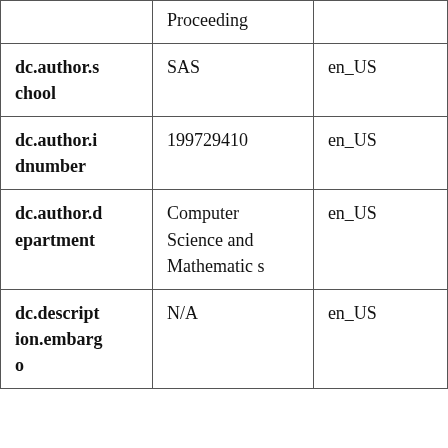|  | Proceeding |  |
| dc.author.school | SAS | en_US |
| dc.author.idnumber | 199729410 | en_US |
| dc.author.department | Computer Science and Mathematics | en_US |
| dc.description.embargo | N/A | en_US |